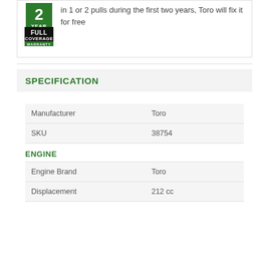[Figure (logo): 2 Year Full Coverage Warranty badge - green and black shield/tag shape]
in 1 or 2 pulls during the first two years, Toro will fix it for free
SPECIFICATION
|  |  |
| --- | --- |
| Manufacturer | Toro |
| SKU | 38754 |
ENGINE
|  |  |
| --- | --- |
| Engine Brand | Toro |
| Displacement | 212 cc |